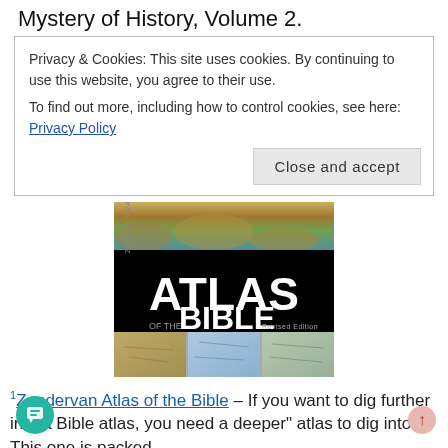Mystery of History, Volume 2.
Privacy & Cookies: This site uses cookies. By continuing to use this website, you agree to their use.
To find out more, including how to control cookies, see here: Privacy Policy
[Figure (photo): Book cover of Zondervan Atlas of the Bible, Revised Edition, showing the title in large white text on black background, with map images along the bottom and a terrain/landscape photo at the top.]
1 Zondervan Atlas of the Bible – If you want to dig further into a Bible atlas, you need a deeper" atlas to dig into! This one is packed